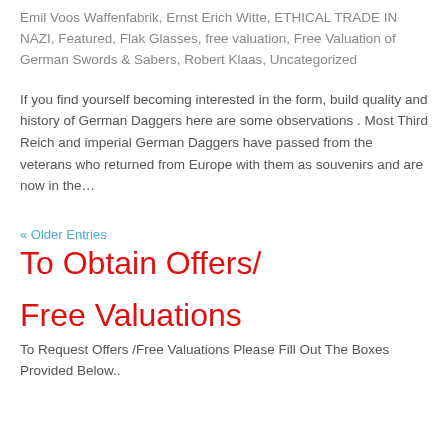Emil Voos Waffenfabrik, Ernst Erich Witte, ETHICAL TRADE IN NAZI, Featured, Flak Glasses, free valuation, Free Valuation of German Swords & Sabers, Robert Klaas, Uncategorized
If you find yourself becoming interested in the form, build quality and history of German Daggers here are some observations . Most Third Reich and imperial German Daggers have passed from the veterans who returned from Europe with them as souvenirs and are now in the…
« Older Entries
To Obtain Offers/
Free Valuations
To Request Offers /Free Valuations Please Fill Out The Boxes Provided Below..